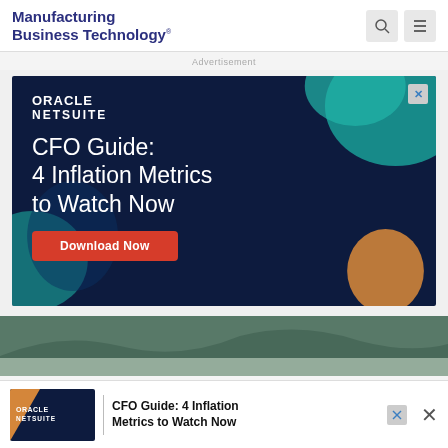Manufacturing Business Technology
Advertisement
[Figure (illustration): Oracle NetSuite advertisement banner: dark navy background with teal and orange decorative blobs. Oracle NetSuite logo at top left. Large white text: CFO Guide: 4 Inflation Metrics to Watch Now. Red Download Now button.]
[Figure (photo): Partial landscape photo showing mountains and water, partially visible below the main advertisement.]
[Figure (illustration): Bottom sticky banner ad for Oracle NetSuite: CFO Guide: 4 Inflation Metrics to Watch Now, with Oracle logo on left and close buttons on right.]